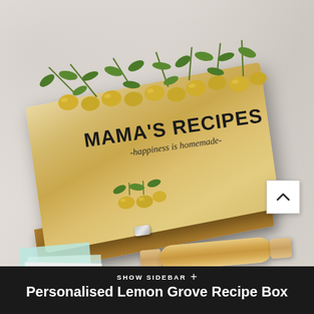[Figure (photo): A personalised lemon grove wooden recipe box decorated with painted yellow lemons and green leaves on top, with the text MAMA'S RECIPES and -happiness is homemade- engraved on the lid. The box has a metal clasp and sits on a marble surface alongside light blue recipe cards and a wooden rolling pin.]
SHOW SIDEBAR +
Personalised Lemon Grove Recipe Box